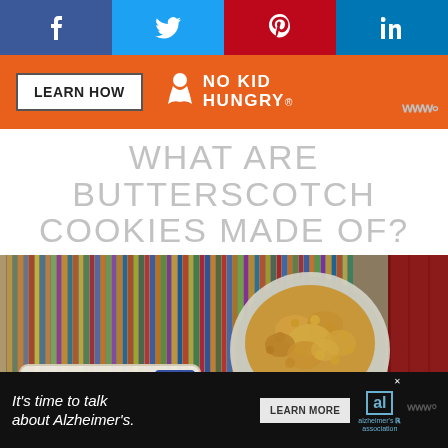[Figure (screenshot): Social media sharing bar with Facebook (blue), Twitter (light blue), Pinterest (red), and LinkedIn (dark blue) icons]
[Figure (infographic): Orange ad banner with 'LEARN HOW' button and No Kid Hungry logo]
WHAT ARE BUTTERSCOTCH COOKIES MADE OF?
[Figure (photo): Overhead photo of a colorful woven mat/placemat with a bowl of brown sugar and a package of butter. Red wooden surface visible on right edge.]
[Figure (screenshot): Bottom advertisement banner: 'It's time to talk about Alzheimer's.' with a Learn More button and Alzheimer's Association logo]